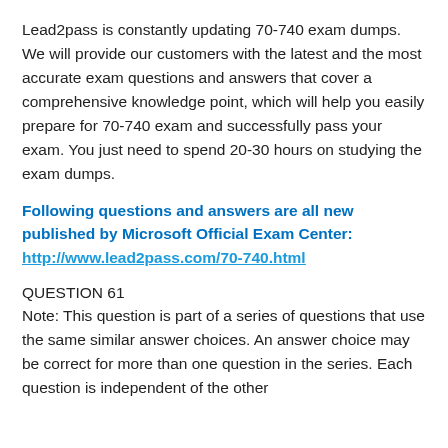Lead2pass is constantly updating 70-740 exam dumps. We will provide our customers with the latest and the most accurate exam questions and answers that cover a comprehensive knowledge point, which will help you easily prepare for 70-740 exam and successfully pass your exam. You just need to spend 20-30 hours on studying the exam dumps.
Following questions and answers are all new published by Microsoft Official Exam Center: http://www.lead2pass.com/70-740.html
QUESTION 61
Note: This question is part of a series of questions that use the same similar answer choices. An answer choice may be correct for more than one question in the series. Each question is independent of the other